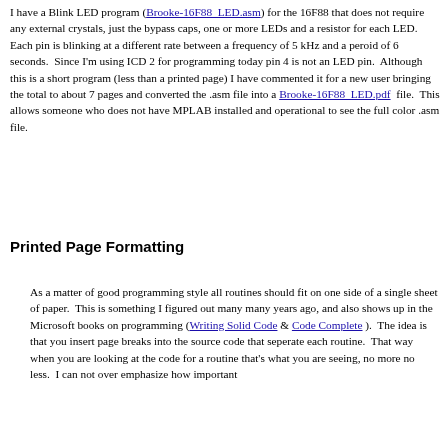I have a Blink LED program (Brooke-16F88_LED.asm) for the 16F88 that does not require any external crystals, just the bypass caps, one or more LEDs and a resistor for each LED. Each pin is blinking at a different rate between a frequency of 5 kHz and a peroid of 6 seconds. Since I'm using ICD 2 for programming today pin 4 is not an LED pin. Although this is a short program (less than a printed page) I have commented it for a new user bringing the total to about 7 pages and converted the .asm file into a Brooke-16F88_LED.pdf file. This allows someone who does not have MPLAB installed and operational to see the full color .asm file.
Printed Page Formatting
As a matter of good programming style all routines should fit on one side of a single sheet of paper. This is something I figured out many many years ago, and also shows up in the Microsoft books on programming (Writing Solid Code & Code Complete). The idea is that you insert page breaks into the source code that seperate each routine. That way when you are looking at the code for a routine that's what you are seeing, no more no less. I can not over emphasize how important